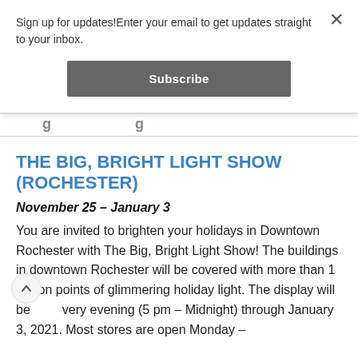Sign up for updates!Enter your email to get updates straight to your inbox.
Subscribe
THE BIG, BRIGHT LIGHT SHOW (ROCHESTER)
November 25 – January 3
You are invited to brighten your holidays in Downtown Rochester with The Big, Bright Light Show! The buildings in downtown Rochester will be covered with more than 1 million points of glimmering holiday light. The display will be very evening (5 pm – Midnight) through January 3, 2021. Most stores are open Monday –